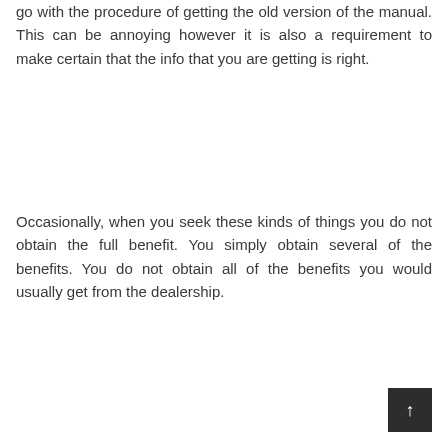go with the procedure of getting the old version of the manual. This can be annoying however it is also a requirement to make certain that the info that you are getting is right.
Occasionally, when you seek these kinds of things you do not obtain the full benefit. You simply obtain several of the benefits. You do not obtain all of the benefits you would usually get from the dealership.